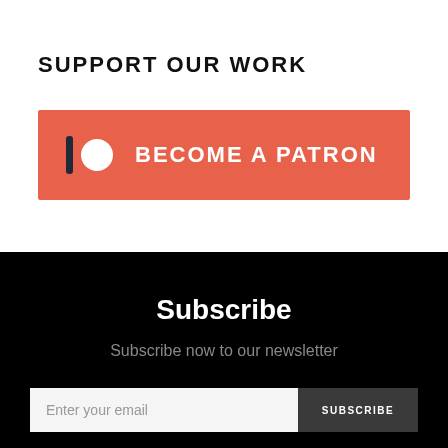SUPPORT OUR WORK
[Figure (other): Patreon button with logo icon and text BECOME A PATRON on an orange-red background]
Subscribe
Subscribe now to our newsletter
Enter your email | SUBSCRIBE